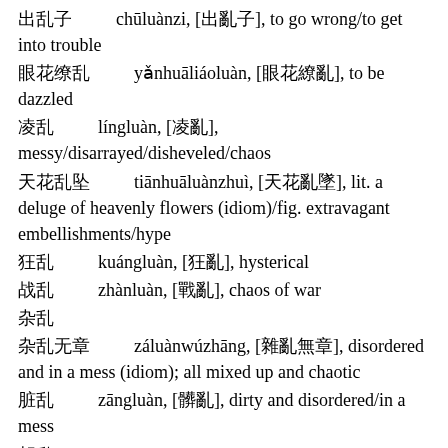出乱子　　chūluànzi, [出亂子], to go wrong/to get into trouble
眼花缭乱　　yǎnhuāliáoluàn, [眼花繚亂], to be dazzled
凌乱　　língluàn, [凌亂], messy/disarrayed/disheveled/chaos
天花乱坠　　tiānhuāluànzhuì, [天花亂墜], lit. a deluge of heavenly flowers (idiom)/fig. extravagant embellishments/hype
狂乱　　kuángluàn, [狂亂], hysterical
战乱　　zhànluàn, [戰亂], chaos of war
杂乱
杂乱无章　　záluànwúzhāng, [雜亂無章], disordered and in a mess (idiom); all mixed up and chaotic
脏乱　　zāngluàn, [髒亂], dirty and disordered/in a mess
胡乱
糊乱　　húluàn, [糊亂], careless/agitated